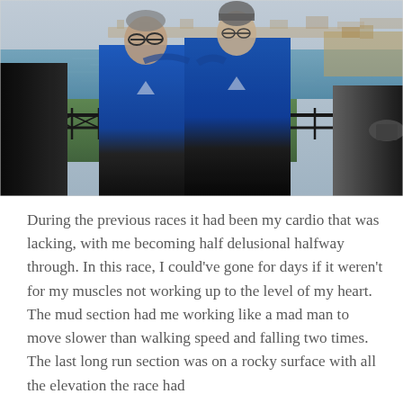[Figure (photo): Two men wearing matching blue hoodies posing together outdoors at a scenic overlook with iron railings, a green lawn, and a harbor with a city and water in the background. Other people visible on the edges.]
During the previous races it had been my cardio that was lacking, with me becoming half delusional halfway through. In this race, I could've gone for days if it weren't for my muscles not working up to the level of my heart. The mud section had me working like a mad man to move slower than walking speed and falling two times. The last long run section was on a rocky surface with all the elevation the race had